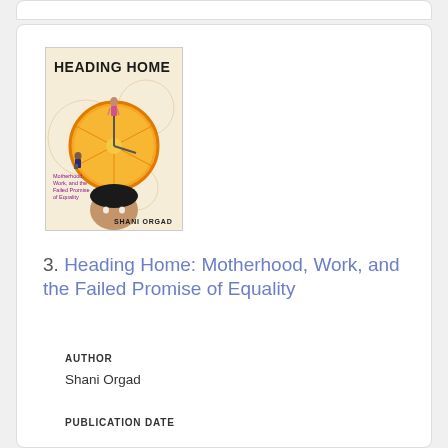[Figure (photo): Book cover of 'Heading Home: Motherhood, Work, and the Failed Promise of Equality' by Shani Orgad. Cover shows bold title text, an orange/citrus slice illustration with small figures, and a face at the bottom. Subtitle in purple text reads: Motherhood, Work, and the Failed Promise of Equality.]
3. Heading Home: Motherhood, Work, and the Failed Promise of Equality
AUTHOR
Shani Orgad
PUBLICATION DATE